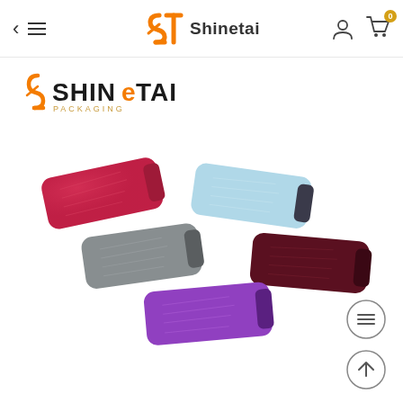Shinetai - navigation bar with back arrow, menu, logo, user icon, cart (0)
[Figure (logo): SHINETAI PACKAGING logo with stylized S-T orange monogram and black bold text]
[Figure (photo): Five velvet/fabric eyeglass pouches/sleeves arranged in a fan/arc pattern. Colors: hot pink/red (top left), light blue (top center), dark burgundy/maroon (right), gray (center left), purple/violet (bottom center). Soft snap-close style cases on white background.]
[Figure (other): Two circular UI button icons in bottom right: a lines/menu icon and an up-arrow icon]